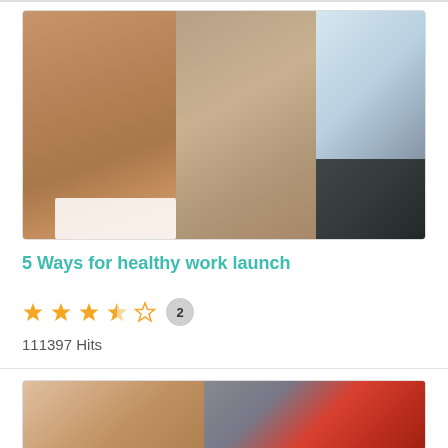[Figure (photo): Close-up photo of fitness/workout scene showing torsos of people exercising, woman in white sports bra on left, person in light blue on right]
5 Ways for healthy work launch
★★★★☆ 2
111397 Hits
[Figure (photo): Bottom cropped photo showing two people exercising, one with dark wristband on left and one in orange/grey top on right]